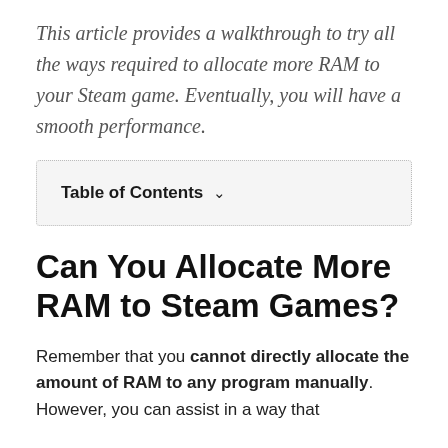This article provides a walkthrough to try all the ways required to allocate more RAM to your Steam game. Eventually, you will have a smooth performance.
| Table of Contents |
| --- |
Can You Allocate More RAM to Steam Games?
Remember that you cannot directly allocate the amount of RAM to any program manually. However, you can assist in a way that